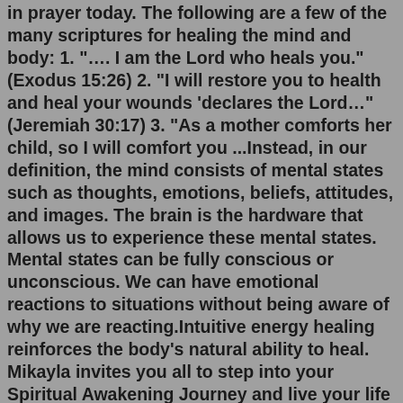in prayer today. The following are a few of the many scriptures for healing the mind and body: 1. "…. I am the Lord who heals you." (Exodus 15:26) 2. "I will restore you to health and heal your wounds 'declares the Lord…" (Jeremiah 30:17) 3. "As a mother comforts her child, so I will comfort you ...Instead, in our definition, the mind consists of mental states such as thoughts, emotions, beliefs, attitudes, and images. The brain is the hardware that allows us to experience these mental states. Mental states can be fully conscious or unconscious. We can have emotional reactions to situations without being aware of why we are reacting.Intuitive energy healing reinforces the body's natural ability to heal. Mikayla invites you all to step into your Spiritual Awakening Journey and live your life in harmony, peace, happiness, and purpose. She says, "Please feel free to reach out with any questions. Let us all heal together as a community and collective."Sep 18, 2020 · 5) Move your eyes in a clockwise circle. 6) Move your eyes in an anti-clockwise circle. 7) Hum a few seconds